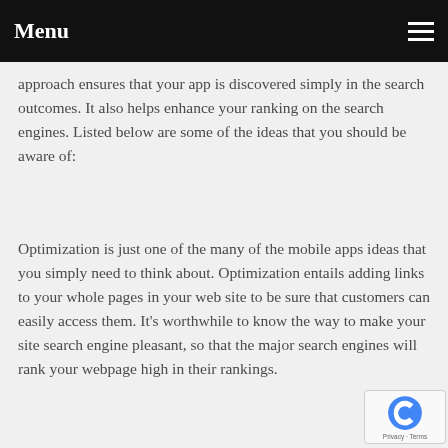Menu
approach ensures that your app is discovered simply in the search outcomes. It also helps enhance your ranking on the search engines. Listed below are some of the ideas that you should be aware of:
Optimization is just one of the many of the mobile apps ideas that you simply need to think about. Optimization entails adding links to your whole pages in your web site to be sure that customers can easily access them. It's worthwhile to know the way to make your site search engine pleasant, so that the major search engines will rank your webpage high in their rankings.